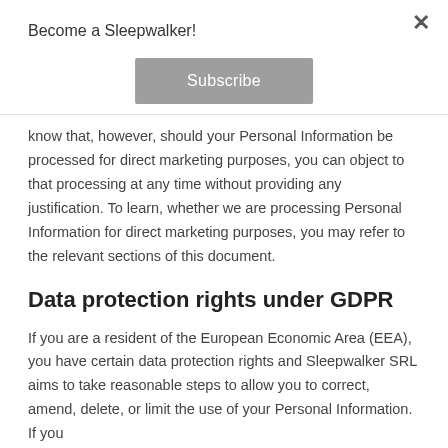Become a Sleepwalker!
Subscribe
know that, however, should your Personal Information be processed for direct marketing purposes, you can object to that processing at any time without providing any justification. To learn, whether we are processing Personal Information for direct marketing purposes, you may refer to the relevant sections of this document.
Data protection rights under GDPR
If you are a resident of the European Economic Area (EEA), you have certain data protection rights and Sleepwalker SRL aims to take reasonable steps to allow you to correct, amend, delete, or limit the use of your Personal Information. If you